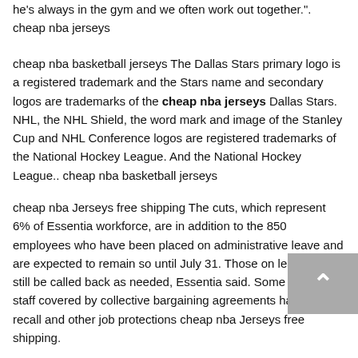he's always in the gym and we often work out together.". cheap nba jerseys
cheap nba basketball jerseys The Dallas Stars primary logo is a registered trademark and the Stars name and secondary logos are trademarks of the cheap nba jerseys Dallas Stars. NHL, the NHL Shield, the word mark and image of the Stanley Cup and NHL Conference logos are registered trademarks of the National Hockey League. And the National Hockey League.. cheap nba basketball jerseys
cheap nba Jerseys free shipping The cuts, which represent 6% of Essentia workforce, are in addition to the 850 employees who have been placed on administrative leave and are expected to remain so until July 31. Those on leave may still be called back as needed, Essentia said. Some laid off staff covered by collective bargaining agreements have right of recall and other job protections cheap nba Jerseys free shipping.